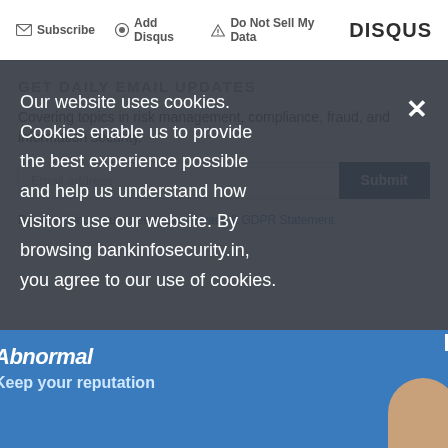Subscribe  Add Disqus  Do Not Sell My Data  DISQUS
GET DAILY EMAIL UPDATES
Covering topics in risk management, compliance, fraud, and information security.
Email address  Submit
By submitting, you agree to our Privacy & GDPR Statement.
Our website uses cookies. Cookies enable us to provide the best experience possible and help us understand how visitors use our website. By browsing bankinfosecurity.in, you agree to our use of cookies.
[Figure (screenshot): Advertisement banner with 'Abnormal' branding and 'Keep your reputation' text, teal/blue background with person photo]